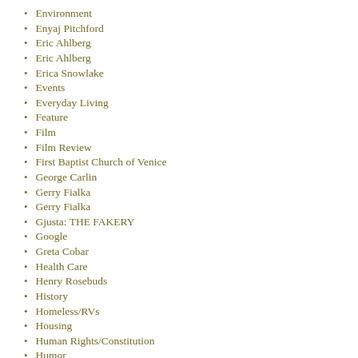Environment
Enyaj Pitchford
Eric Ahlberg
Eric Ahlberg
Erica Snowlake
Events
Everyday Living
Feature
Film
Film Review
First Baptist Church of Venice
George Carlin
Gerry Fialka
Gerry Fialka
Gjusta: THE FAKERY
Google
Greta Cobar
Health Care
Henry Rosebuds
History
Homeless/RVs
Housing
Human Rights/Constitution
Humor
Immigration/Free Trade
In Brief
Independent Film